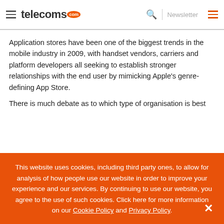telecoms.com — Newsletter
Application stores have been one of the biggest trends in the mobile industry in 2009, with handset vendors, carriers and platform developers all seeking to establish stronger relationships with the end user by mimicking Apple’s genre-defining App Store.
There is much debate as to which type of organisation is best
This website uses cookies, including third party ones, to allow for analysis of how people use our website in order to improve your experience and our services. By continuing to use our website, you agree to the use of such cookies. Click here for more information on our Cookie Policy and Privacy Policy.